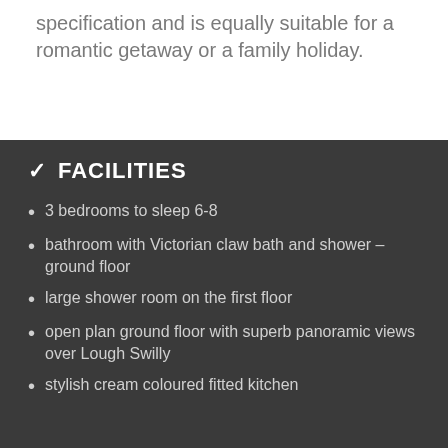specification and is equally suitable for a romantic getaway or a family holiday.
✓  FACILITIES
3 bedrooms to sleep 6-8
bathroom with Victorian claw bath and shower – ground floor
large shower room on the first floor
open plan ground floor with superb panoramic views over Lough Swilly
stylish cream coloured fitted kitchen